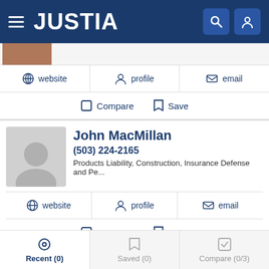JUSTIA
website  profile  email
Compare  Save
John MacMillan
(503) 224-2165
Products Liability, Construction, Insurance Defense and Pe...
website  profile  email
Compare  Save
Robert Louis Aldisert
Recent (0)  Saved (0)  Compare (0/3)